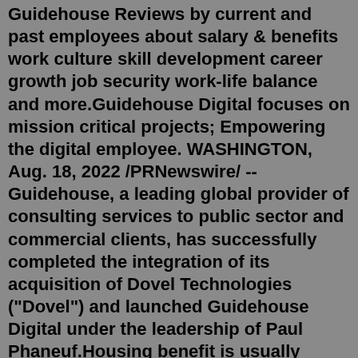Guidehouse Reviews by current and past employees about salary & benefits work culture skill development career growth job security work-life balance and more.Guidehouse Digital focuses on mission critical projects; Empowering the digital employee. WASHINGTON, Aug. 18, 2022 /PRNewswire/ -- Guidehouse, a leading global provider of consulting services to public sector and commercial clients, has successfully completed the integration of its acquisition of Dovel Technologies ("Dovel") and launched Guidehouse Digital under the leadership of Paul Phaneuf.Housing benefit is usually worked out by adding together personal allowances and any additional "premiums" you could be entitled to, both of which are set by the Department...Information and advice about Housing Benefit for carers. Housing Benefit is a means-tested benefit. This means that the amount you can get depends on your (and any partner's) income and...Financial benefits, housing support and access to government employment programmes are all key